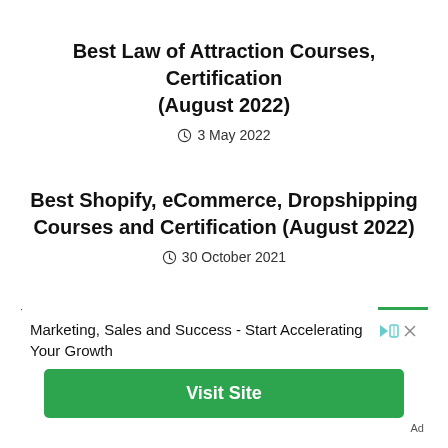Best Law of Attraction Courses, Certification (August 2022)
3 May 2022
Best Shopify, eCommerce, Dropshipping Courses and Certification (August 2022)
30 October 2021
Marketing, Sales and Success - Start Accelerating Your Growth
Visit Site
Ad